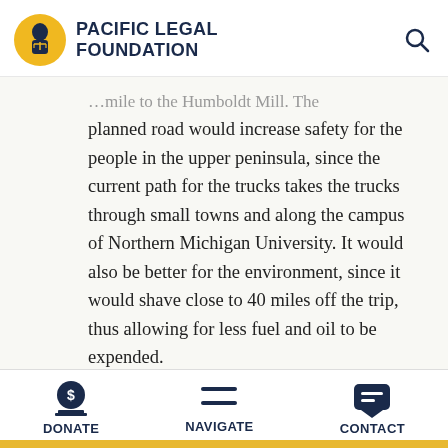PACIFIC LEGAL FOUNDATION
…mile to the Humboldt Mill. The planned road would increase safety for the people in the upper peninsula, since the current path for the trucks takes the trucks through small towns and along the campus of Northern Michigan University. It would also be better for the environment, since it would shave close to 40 miles off the trip, thus allowing for less fuel and oil to be expended.
DONATE   NAVIGATE   CONTACT